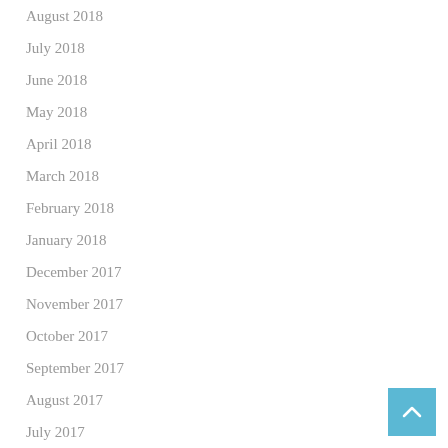August 2018
July 2018
June 2018
May 2018
April 2018
March 2018
February 2018
January 2018
December 2017
November 2017
October 2017
September 2017
August 2017
July 2017
June 2017
May 2017